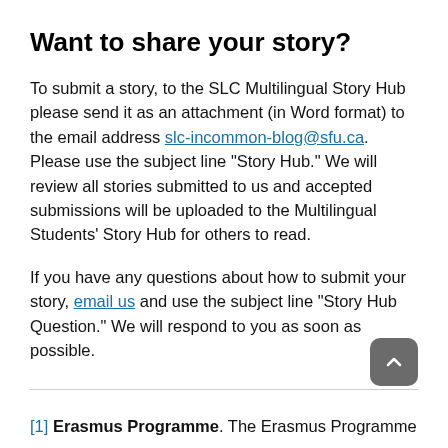Want to share your story?
To submit a story, to the SLC Multilingual Story Hub please send it as an attachment (in Word format) to the email address slc-incommon-blog@sfu.ca. Please use the subject line “Story Hub.” We will review all stories submitted to us and accepted submissions will be uploaded to the Multilingual Students’ Story Hub for others to read.
If you have any questions about how to submit your story, email us and use the subject line “Story Hub Question.” We will respond to you as soon as possible.
[1] Erasmus Programme. The Erasmus Programme